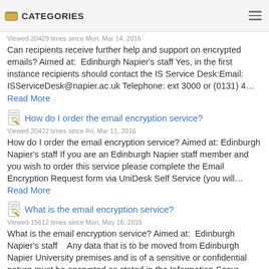Can recipients receive further help and support on encrypted
CATEGORIES
Viewed 20429 times since Mon, Mar 14, 2016
Can recipients receive further help and support on encrypted emails? Aimed at: Edinburgh Napier’s staff Yes, in the first instance recipients should contact the IS Service Desk:Email: ISServiceDesk@napier.ac.uk Telephone: ext 3000 or (0131) 4...
Read More
How do I order the email encryption service?
Viewed 20422 times since Fri, Mar 11, 2016
How do I order the email encryption service? Aimed at: Edinburgh Napier’s staff If you are an Edinburgh Napier staff member and you wish to order this service please complete the Email Encryption Request form via UniDesk Self Service (you will... Read More
What is the email encryption service?
Viewed 15612 times since Mon, May 16, 2016
What is the email encryption service? Aimed at: Edinburgh Napier’s staff   Any data that is to be moved from Edinburgh Napier University premises and is of a sensitive or confidential nature must be encrypted as stated in the Information Secur...
Read More